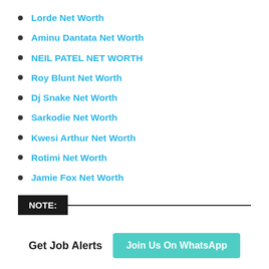Lorde Net Worth
Aminu Dantata Net Worth
NEIL PATEL NET WORTH
Roy Blunt Net Worth
Dj Snake Net Worth
Sarkodie Net Worth
Kwesi Arthur Net Worth
Rotimi Net Worth
Jamie Fox Net Worth
NOTE:
Get Job Alerts  Join Us On WhatsApp